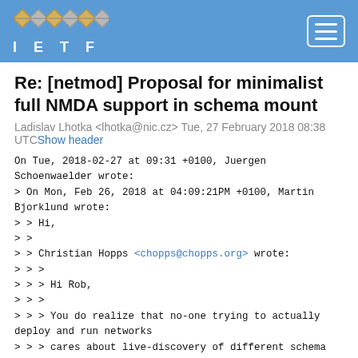IETF
Re: [netmod] Proposal for minimalist full NMDA support in schema mount
Ladislav Lhotka <lhotka@nic.cz> Tue, 27 February 2018 08:38 UTCShow header
On Tue, 2018-02-27 at 09:31 +0100, Juergen Schoenwaelder wrote:
> On Mon, Feb 26, 2018 at 04:09:21PM +0100, Martin Bjorklund wrote:
> > Hi,
> >
> > Christian Hopps <chopps@chopps.org> wrote:
> > >
> > > Hi Rob,
> > >
> > > You do realize that no-one trying to actually deploy and run networks
> > > cares about live-discovery of different schema per datastore for the
> > > same mount point right? Like 99.999% of the clients know where things
> > > are supposed to reside and expect them to be there.